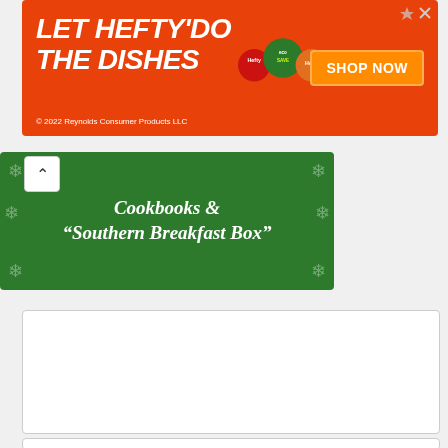[Figure (infographic): Orange Hefty advertisement banner: 'LET HEFTY DO THE DISHES' with product images and 'SHOP NOW' button. Copyright 2022 Reynolds Consumer Products LLC.]
[Figure (infographic): Green banner with white italic bold text: Cookbooks & "Southern Breakfast Box"]
[Figure (other): White content box with border (empty content area)]
[Figure (other): White content box with border at bottom (partially visible)]